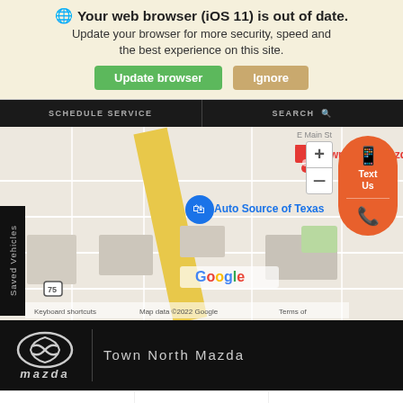Your web browser (iOS 11) is out of date. Update your browser for more security, speed and the best experience on this site.
[Figure (screenshot): Google Maps screenshot showing Town North Mazda and Auto Source of Texas markers in an urban area. Includes zoom controls and attribution text: Keyboard shortcuts, Map data ©2022 Google, Terms of.]
Town North Mazda
Search   Contact   Saved